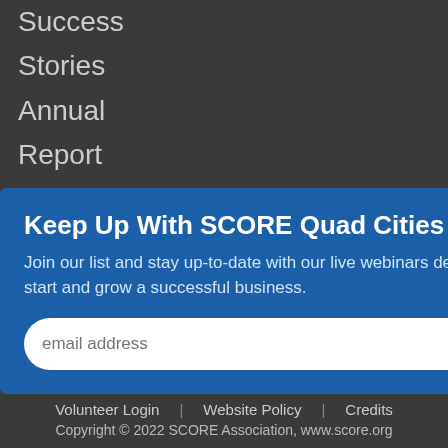Success
Stories
Annual
Report
Media
Resources
Keep Up With SCORE Quad Cities
Join our list and stay up-to-date with our live webinars designed to help you start and grow a successful business.
Volunteer Login | Website Policy | Credits
Copyright © 2022 SCORE Association, www.score.org